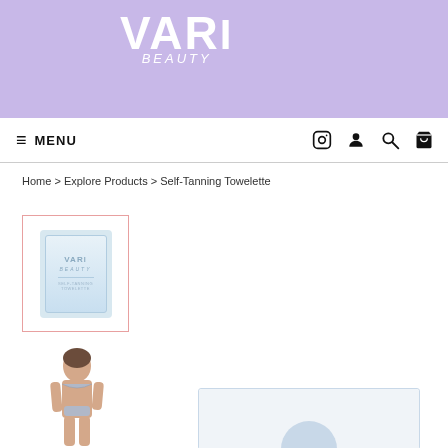VARI beauty
≡ MENU
Home > Explore Products > Self-Tanning Towelette
[Figure (photo): Product thumbnail: Vari Beauty Self-Tanning Towelette packet with blue/white packaging, shown in a red-bordered selection box]
[Figure (photo): Woman in bikini modeling self-tanning product, partial view at bottom left]
[Figure (photo): Second product image partially visible at bottom right]